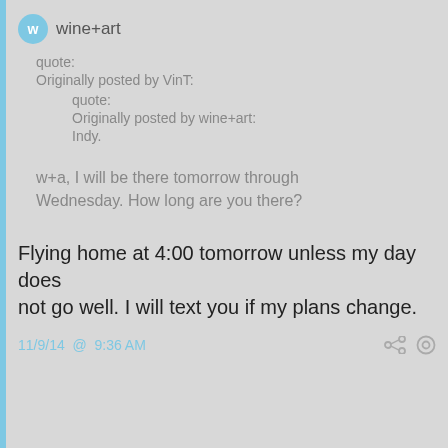wine+art
quote:
Originally posted by VinT:

quote:
Originally posted by wine+art:
Indy.
w+a, I will be there tomorrow through Wednesday. How long are you there?
Flying home at 4:00 tomorrow unless my day does not go well. I will text you if my plans change.
11/9/14 @ 9:36 AM